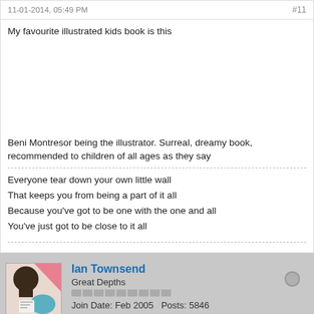11-01-2014, 05:49 PM   #11
My favourite illustrated kids book is this
Beni Montresor being the illustrator. Surreal, dreamy book, recommended to children of all ages as they say
Everyone tear down your own little wall
That keeps you from being a part of it all
Because you've got to be one with the one and all
You've just got to be close to it all
Ian Townsend
Great Depths
Join Date: Feb 2005   Posts: 5846
08-02-2014, 07:51 PM   #12